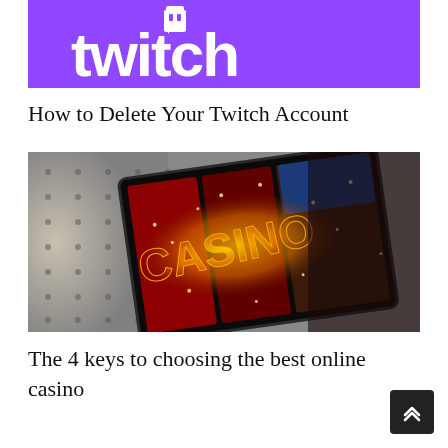[Figure (logo): Twitch logo on purple background with white text 'twitch' and Twitch glitch/controller icon above]
How to Delete Your Twitch Account
[Figure (photo): Close-up photo of a casino sign/game card with glowing 'CASINO' text in gold/orange letters on dark background, bokeh lights]
The 4 keys to choosing the best online casino